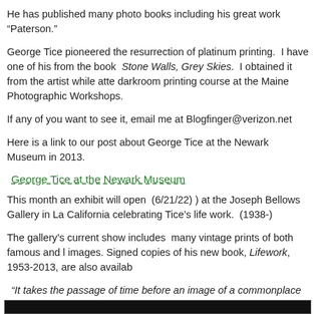He has published many photo books including his great work “Paterson.”
George Tice pioneered the resurrection of platinum printing.  I have one of his from the book  Stone Walls, Grey Skies.  I obtained it from the artist while attending a darkroom printing course at the Maine Photographic Workshops.
If any of you want to see it, email me at Blogfinger@verizon.net
Here is a link to our post about George Tice at the Newark Museum in 2013.
George Tice at the Newark Museum
This month an exhibit will open  (6/21/22) ) at the Joseph Bellows Gallery in La California celebrating Tice’s life work.  (1938-)
The gallery’s current show includes  many vintage prints of both famous and lesser known images. Signed copies of his new book, Lifework, 1953-2013, are also available.
“It takes the passage of time before an image of a commonplace subject can b... The great difficulty of what I attempt is seeing beyond the moment; the everyday gets in the way of the eternal.” – George Tice
[Figure (other): Black bar at the bottom of the page]